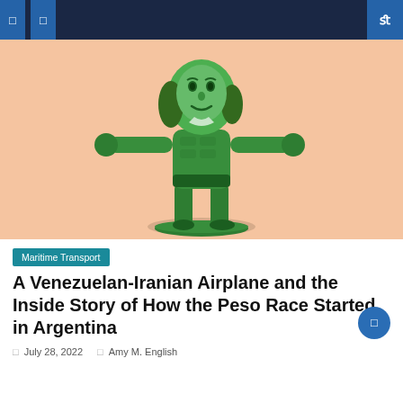navigation header with menu icons and search
[Figure (illustration): Green toy soldier figurine with Benjamin Franklin's face from the $100 bill, posed in an action stance, on a peach/salmon colored background]
Maritime Transport
A Venezuelan-Iranian Airplane and the Inside Story of How the Peso Race Started in Argentina
July 28, 2022   Amy M. English